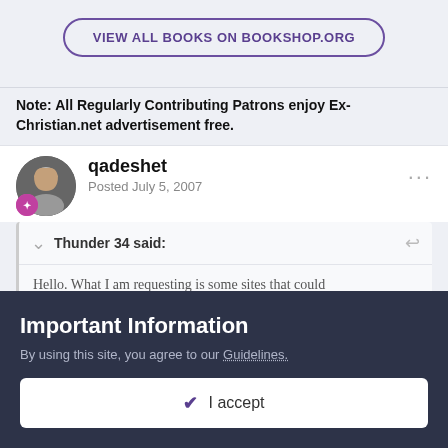[Figure (other): Button with rounded border: VIEW ALL BOOKS ON BOOKSHOP.ORG in purple]
Note: All Regularly Contributing Patrons enjoy Ex-Christian.net advertisement free.
qadeshet
Posted July 5, 2007
Thunder 34 said:
Hello. What I am requesting is some sites that could
Important Information
By using this site, you agree to our Guidelines.
✓  I accept